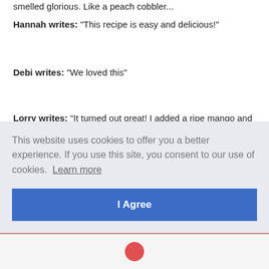smelled glorious. Like a peach cobbler...
Hannah writes: "This recipe is easy and delicious!"
Debi writes: "We loved this"
Lorry writes: "It turned out great! I added a ripe mango and accidentally doubled the ground cloves. I used fresh Georgia peaches, but frozen ones would do, too."
This website uses cookies to offer you a better experience. If you use this site, you consent to our use of cookies. Learn more
I Agree